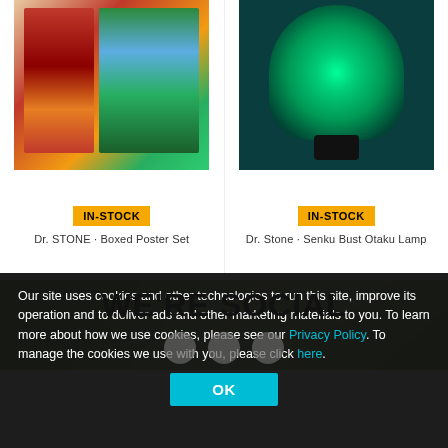[Figure (photo): Dr. STONE Boxed Poster Set product image showing anime manga poster set]
[Figure (photo): Dr. Stone Senku Bust Otaku Lamp glowing green on dark teal background]
IN-STOCK
Dr. STONE · Boxed Poster Set
IN-STOCK
Dr. Stone · Senku Bust Otaku Lamp
WE'RE SOCIAL
Our site uses cookies and other technologies to run this site, improve its operation and to deliver ads and other marketing materials to you. To learn more about how we use cookies, please see our Privacy Policy. To manage the cookies we use with you, please click here.